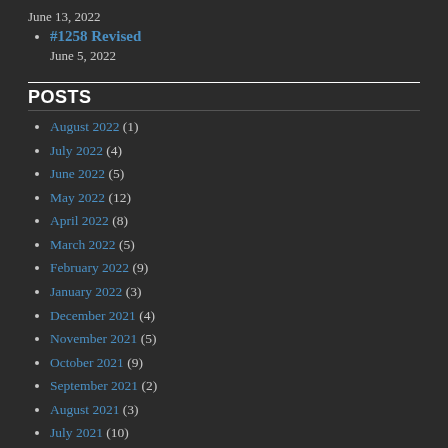June 13, 2022
#1258 Revised
June 5, 2022
POSTS
August 2022 (1)
July 2022 (4)
June 2022 (5)
May 2022 (12)
April 2022 (8)
March 2022 (5)
February 2022 (9)
January 2022 (3)
December 2021 (4)
November 2021 (5)
October 2021 (9)
September 2021 (2)
August 2021 (3)
July 2021 (10)
June 2021 (2)
May 2021 (12)
April 2021 (8)
March 2021 (8)